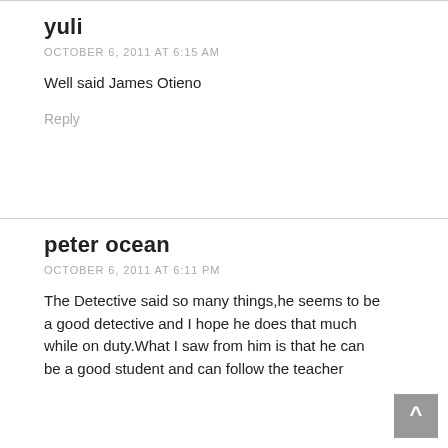yuli
OCTOBER 6, 2011 AT 6:15 AM
Well said James Otieno
Reply
peter ocean
OCTOBER 6, 2011 AT 6:11 PM
The Detective said so many things,he seems to be a good detective and I hope he does that much while on duty.What I saw from him is that he can be a good student and can follow the teacher